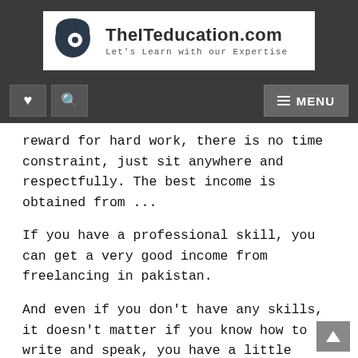[Figure (logo): TheITeducation.com logo with tagline 'Let's Learn with our Expertise']
♥  🔍  MENU
reward for hard work, there is no time constraint, just sit anywhere and respectfully. The best income is obtained from ...
If you have a professional skill, you can get a very good income from freelancing in pakistan.
And even if you don't have any skills, it doesn't matter if you know how to write and speak, you have a little understanding of computer, you have good voice, you have self-confidence, but there is a lot of work for you in freelancing in